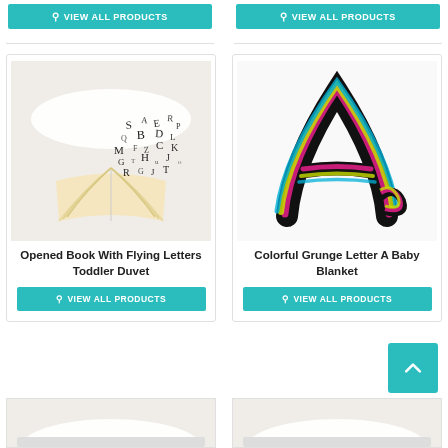[Figure (photo): View All Products button top left]
[Figure (photo): View All Products button top right]
[Figure (photo): Opened Book With Flying Letters Toddler Duvet product image]
Opened Book With Flying Letters Toddler Duvet
[Figure (other): View All Products button for book product]
[Figure (photo): Colorful Grunge Letter A Baby Blanket product image]
Colorful Grunge Letter A Baby Blanket
[Figure (other): View All Products button for letter A product]
[Figure (photo): Back to top button]
[Figure (photo): Bottom left product partially visible]
[Figure (photo): Bottom right product partially visible]